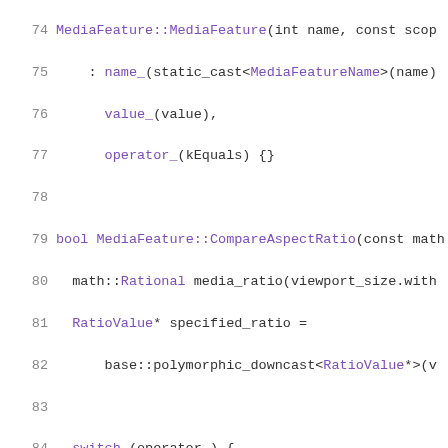[Figure (screenshot): Source code screenshot showing C++ code for MediaFeature class methods, lines 74-95, with syntax highlighting: purple for keywords and class names, black for identifiers and operators, on white background with grey line numbers.]